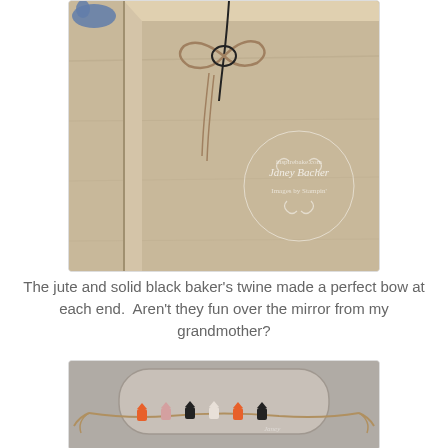[Figure (photo): Close-up photo of a wooden corner with jute and solid black baker's twine tied into a bow. A circular watermark reads 'Janey Bacher' with decorative swirls. The background is light wood grain.]
The jute and solid black baker's twine made a perfect bow at each end.  Aren't they fun over the mirror from my grandmother?
[Figure (photo): Photo of a decorative garland of small cat-shaped figures in orange, black, and pink, strung with jute twine over a rounded mirror hanging on a gray wall.]